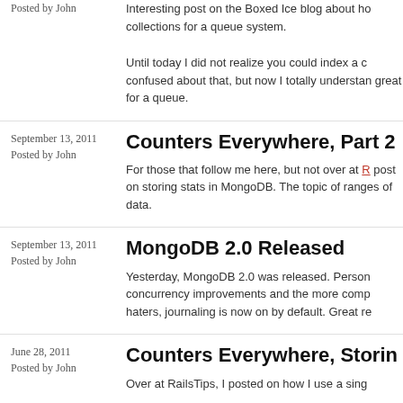Posted by John
Interesting post on the Boxed Ice blog about ho collections for a queue system.
Until today I did not realize you could index a c confused about that, but now I totally understan great for a queue.
September 13, 2011
Posted by John
Counters Everywhere, Part 2
For those that follow me here, but not over at R post on storing stats in MongoDB. The topic of ranges of data.
September 13, 2011
Posted by John
MongoDB 2.0 Released
Yesterday, MongoDB 2.0 was released. Person concurrency improvements and the more comp haters, journaling is now on by default. Great re
June 28, 2011
Posted by John
Counters Everywhere, Storin
Over at RailsTips, I posted on how I use a sing